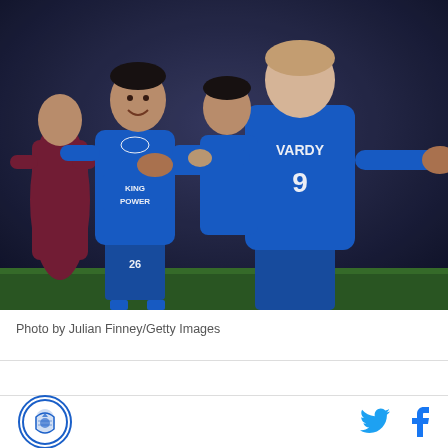[Figure (photo): Two Leicester City football players in blue KING POWER jerseys celebrating on the pitch. The player facing away wears number 9 VARDY on his back. Another player smiles behind him. A West Ham player in claret is visible in the background.]
Photo by Julian Finney/Getty Images
[Figure (logo): Circular logo with blue border and football club emblem in the center]
[Figure (other): Twitter bird icon in blue]
[Figure (other): Facebook f icon in blue]